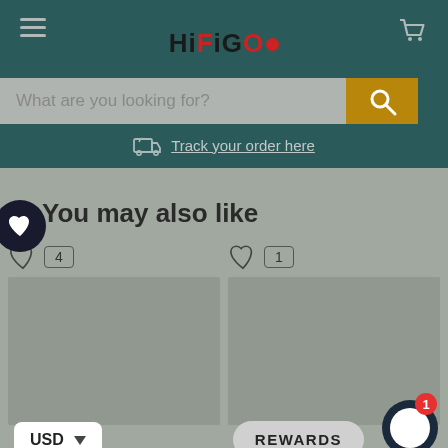HiFiGO - Navigation header with hamburger menu, logo, and cart icon
What are you looking for?
Track your order here
You may also like
[Figure (screenshot): Two product cards with heart/wishlist icons showing counts 4 and 1, and empty product image areas]
USD
REWARDS